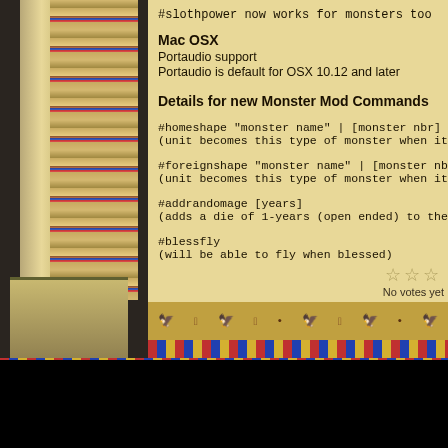#slothpower now works for monsters too
Mac OSX
Portaudio support
Portaudio is default for OSX 10.12 and later
Details for new Monster Mod Commands
#homeshape "monster name" | [monster nbr]
(unit becomes this type of monster when it is located
#foreignshape "monster name" | [monster nbr]
(unit becomes this type of monster when it is located
#addrandomage [years]
(adds a die of 1-years (open ended) to the age for new
#blessfly
(will be able to fly when blessed)
No votes yet